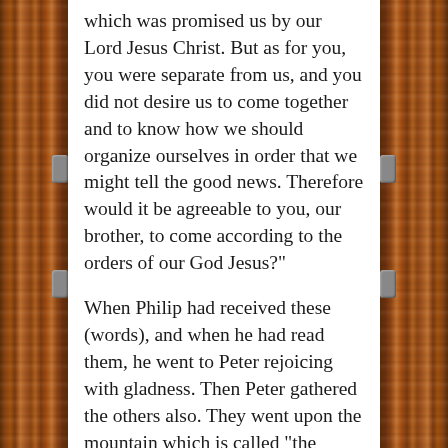which was promised us by our Lord Jesus Christ. But as for you, you were separate from us, and you did not desire us to come together and to know how we should organize ourselves in order that we might tell the good news. Therefore would it be agreeable to you, our brother, to come according to the orders of our God Jesus?"
When Philip had received these (words), and when he had read them, he went to Peter rejoicing with gladness. Then Peter gathered the others also. They went upon the mountain which is called "the (mount) olives," the place where they used to gather with the blessed Christ when he was in the body.
Then, when the apostles had come together, and had thrown themselves upon their knees, they prayed thus saying: "Father, Father, Father of the